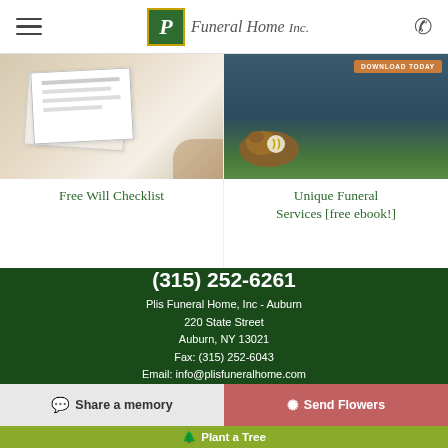Plis Funeral Home, Inc
[Figure (photo): Two overlapping documents/papers on a light beige background, representing a will checklist]
Free Will Checklist
[Figure (photo): Baseball glove and ball on grass with dark blue background and orange 'DOWNLOAD TODAY' badge]
Unique Funeral Services [free ebook!]
(315) 252-6261
Plis Funeral Home, Inc - Auburn
220 State Street
Auburn, NY 13021
Fax: (315) 252-6043
Email: info@plisfuneralhome.com
Share a memory
Send Flowers
Plant a Tree